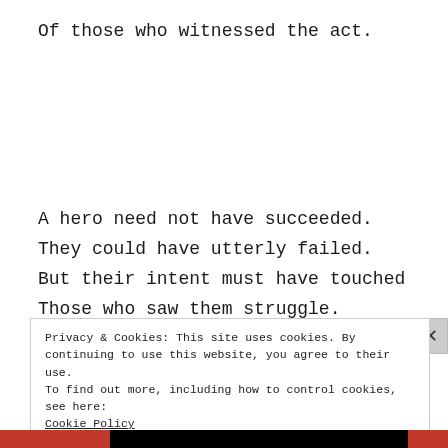Of those who witnessed the act.
A hero need not have succeeded.
They could have utterly failed.
But their intent must have touched
Those who saw them struggle.
Privacy & Cookies: This site uses cookies. By continuing to use this website, you agree to their use.
To find out more, including how to control cookies, see here:
Cookie Policy
Close and accept